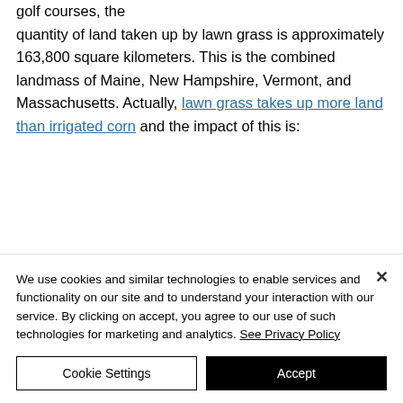golf courses, the quantity of land taken up by lawn grass is approximately 163,800 square kilometers. This is the combined landmass of Maine, New Hampshire, Vermont, and Massachusetts. Actually, lawn grass takes up more land than irrigated corn and the impact of this is:
We use cookies and similar technologies to enable services and functionality on our site and to understand your interaction with our service. By clicking on accept, you agree to our use of such technologies for marketing and analytics. See Privacy Policy